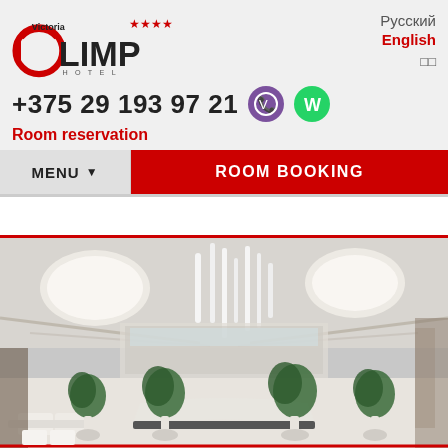[Figure (logo): Victoria Olimp Hotel 4-star logo with red circle O and black text]
Русский
English
□□
+375 29 193 97 21
Room reservation
MENU ▼
ROOM BOOKING
[Figure (photo): Hotel lobby interior with modern pendant lights, white curved reception desk, potted trees, and lounge seating area]